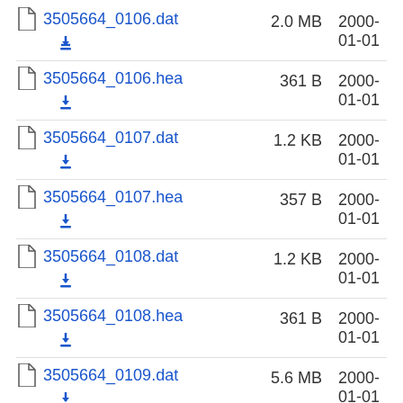3505664_0106.dat  2.0 MB  2000-01-01
3505664_0106.hea  361 B  2000-01-01
3505664_0107.dat  1.2 KB  2000-01-01
3505664_0107.hea  357 B  2000-01-01
3505664_0108.dat  1.2 KB  2000-01-01
3505664_0108.hea  361 B  2000-01-01
3505664_0109.dat  5.6 MB  2000-01-01
3505664_0109.hea  360 B  2000-01-01